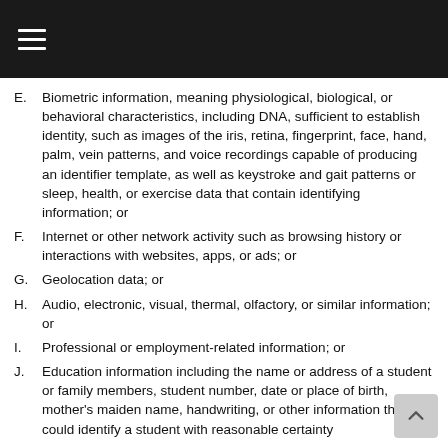E. Biometric information, meaning physiological, biological, or behavioral characteristics, including DNA, sufficient to establish identity, such as images of the iris, retina, fingerprint, face, hand, palm, vein patterns, and voice recordings capable of producing an identifier template, as well as keystroke and gait patterns or sleep, health, or exercise data that contain identifying information; or
F. Internet or other network activity such as browsing history or interactions with websites, apps, or ads; or
G. Geolocation data; or
H. Audio, electronic, visual, thermal, olfactory, or similar information; or
I. Professional or employment-related information; or
J. Education information including the name or address of a student or family members, student number, date or place of birth, mother's maiden name, handwriting, or other information that could identify a student with reasonable certainty